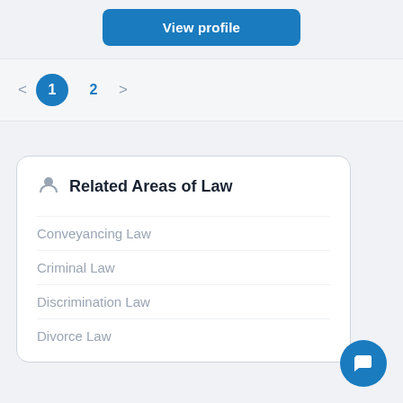View profile
< 1 2 >
Related Areas of Law
Conveyancing Law
Criminal Law
Discrimination Law
Divorce Law